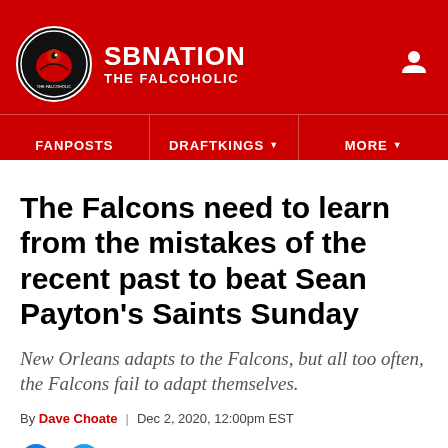SB NATION / THE FALCOHOLIC
The Falcons need to learn from the mistakes of the recent past to beat Sean Payton’s Saints Sunday
New Orleans adapts to the Falcons, but all too often, the Falcons fail to adapt themselves.
By Dave Choate | Dec 2, 2020, 12:00pm EST